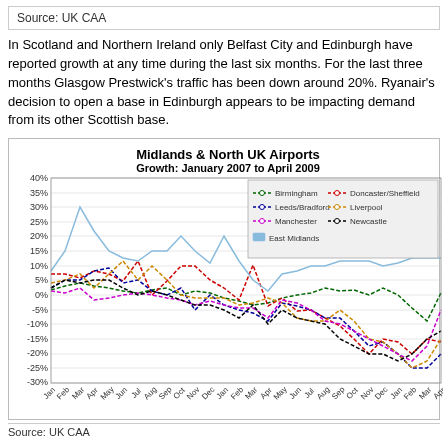Source: UK CAA
In Scotland and Northern Ireland only Belfast City and Edinburgh have reported growth at any time during the last six months. For the last three months Glasgow Prestwick's traffic has been down around 20%. Ryanair's decision to open a base in Edinburgh appears to be impacting demand from its other Scottish base.
[Figure (line-chart): Multi-line chart showing growth rates from Jan 2007 to Apr 2009 for Birmingham, Doncaster/Sheffield, Leeds/Bradford, Liverpool, Manchester, Newcastle, East Midlands airports. Y-axis from -30% to 40%.]
Source: UK CAA